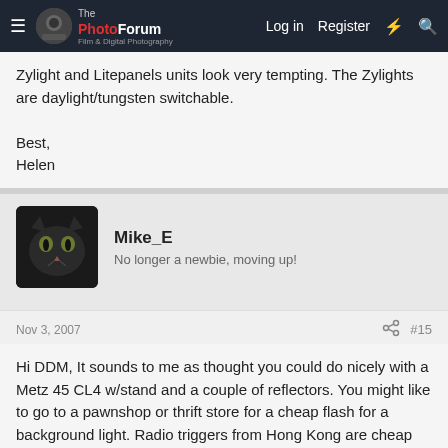The PhotoForum — Log in  Register
Zylight and Litepanels units look very tempting. The Zylights are daylight/tungsten switchable.

Best,
Helen
Mike_E
No longer a newbie, moving up!
Nov 3, 2007   #15
Hi DDM, It sounds to me as thought you could do nicely with a Metz 45 CL4 w/stand and a couple of reflectors. You might like to go to a pawnshop or thrift store for a cheap flash for a background light. Radio triggers from Hong Kong are cheap and should be reliable enough for what you described.